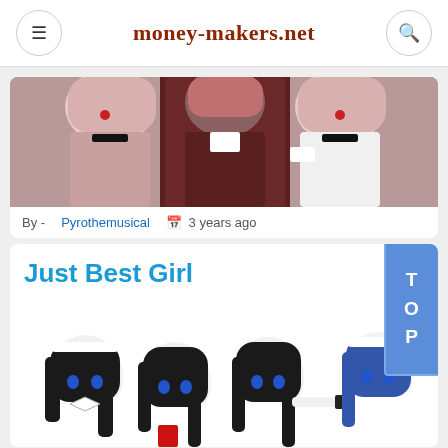money-makers.net
[Figure (illustration): Anime illustration showing multiple pink-haired characters with red eyes in various outfits]
By - Pyrothemusical   3 years ago
Just Best Girl
[Figure (illustration): Anime illustration showing multiple dark-haired characters in maid/uniform outfits]